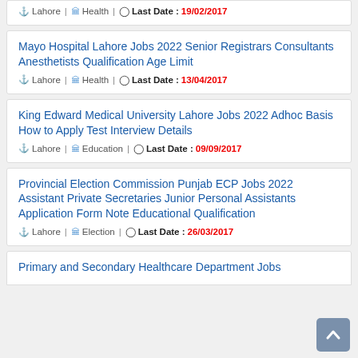Lahore | Health | Last Date : 19/02/2017
Mayo Hospital Lahore Jobs 2022 Senior Registrars Consultants Anesthetists Qualification Age Limit
Lahore | Health | Last Date : 13/04/2017
King Edward Medical University Lahore Jobs 2022 Adhoc Basis How to Apply Test Interview Details
Lahore | Education | Last Date : 09/09/2017
Provincial Election Commission Punjab ECP Jobs 2022 Assistant Private Secretaries Junior Personal Assistants Application Form Note Educational Qualification
Lahore | Election | Last Date : 26/03/2017
Primary and Secondary Healthcare Department Jobs